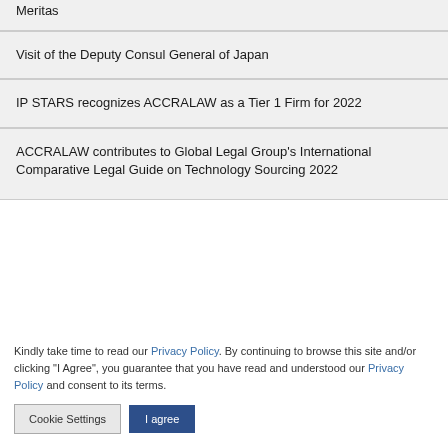Meritas
Visit of the Deputy Consul General of Japan
IP STARS recognizes ACCRALAW as a Tier 1 Firm for 2022
ACCRALAW contributes to Global Legal Group's International Comparative Legal Guide on Technology Sourcing 2022
Kindly take time to read our Privacy Policy. By continuing to browse this site and/or clicking “I Agree”, you guarantee that you have read and understood our Privacy Policy and consent to its terms.